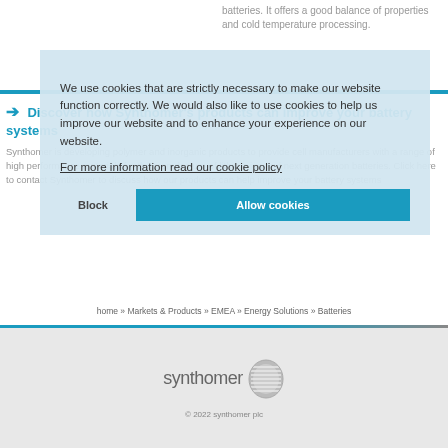batteries. It offers a good balance of properties and cold temperature processing.
Discover how Synthomer's products can improve your battery systems
Synthomer is developing polymer and inorganic products to provide cell manufacturers with a range of high performance materials for the manufacture of lithium-ion and next generation batteries. Click here to contact Synthomer to discuss how our products can help improve your battery systems
[Figure (screenshot): Cookie consent overlay with text: We use cookies that are strictly necessary to make our website function correctly. We would also like to use cookies to help us improve our website and to enhance your experience on our website. For more information read our cookie policy. Buttons: Block and Allow cookies.]
home » Markets & Products » EMEA » Energy Solutions » Batteries
[Figure (logo): Synthomer logo with globe icon and text 'synthomer']
© 2022 synthomer plc